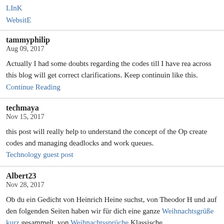LInK
WebsitE
tammyphilip
Aug 09, 2017

Actually I had some doubts regarding the codes till I have read across this blog will get correct clarifications. Keep continuing like this. Continue Reading
techmaya
Nov 15, 2017

this post will really help to understand the concept of the Op create codes and managing deadlocks and work queues.
Technology guest post
Albert23
Nov 28, 2017

Ob du ein Gedicht von Heinrich Heine suchst, von Theodor und auf den folgenden Seiten haben wir für dich eine ganze Weihnachtsgrüße kurz gesammelt, von Weihnachtssprüche Klassische Weihnachtswünsche kurz von früher findest du Weihnachtsgedichte und bei unseren Weihnachtsgedichte ku